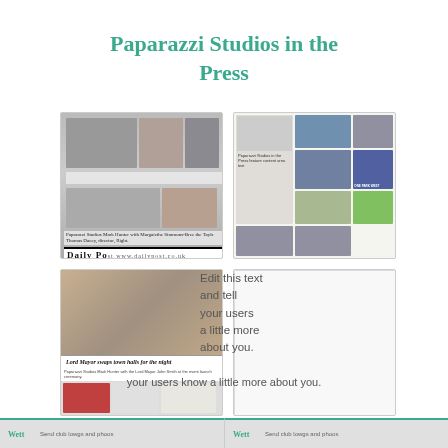Paparazzi Studios in the Press
[Figure (photo): Newspaper clipping from the Daily Post showing event photos of people at a launch or party, with caption text below the images.]
[Figure (photo): Magazine or newspaper spread showing a grid of event photos including outdoor sporting events, group shots, and social gatherings.]
[Figure (photo): Newspaper clipping with headline 'Lord Mayor swaps town halls for the night' showing a man in formal mayoral regalia with another person holding an award.]
[Figure (photo): Blank white placeholder image panel.]
Edit this text and tell your users know a little more about you.
Wett   Send club lowgs and phoos   Wett   Send club lowgs and phoos